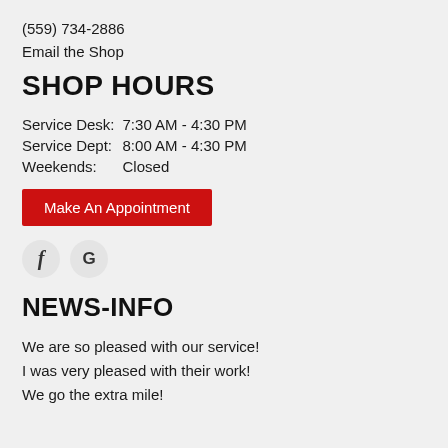(559) 734-2886
Email the Shop
SHOP HOURS
| Service Desk: | 7:30 AM - 4:30 PM |
| Service Dept: | 8:00 AM - 4:30 PM |
| Weekends: | Closed |
Make An Appointment
[Figure (illustration): Social media icons: Facebook (f) and Google (G) in circular grey buttons]
NEWS-INFO
We are so pleased with our service!
I was very pleased with their work!
We go the extra mile!